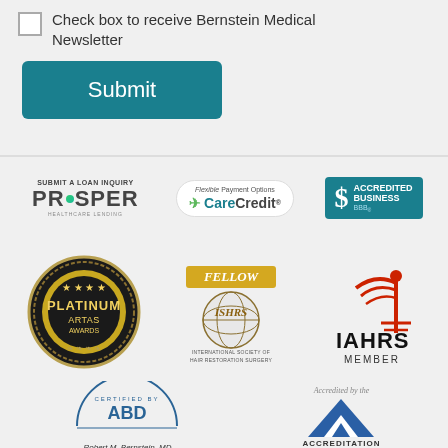Check box to receive Bernstein Medical Newsletter
[Figure (illustration): Submit button - teal/dark cyan rounded rectangle with white text 'Submit']
[Figure (logo): Prosper Healthcare Lending logo with text 'SUBMIT A LOAN INQUIRY' above]
[Figure (logo): CareCredit logo with 'Flexible Payment Options' text]
[Figure (logo): BBB Accredited Business logo in teal]
[Figure (logo): Platinum ARTAS Awards badge - dark circular medal with gold text]
[Figure (logo): ISHRS Fellow badge - gold ribbon with globe, International Society of Hair Restoration Surgery]
[Figure (logo): IAHRS Member logo with red caduceus symbol]
[Figure (logo): ABD Certified by badge with Robert M. Bernstein, MD text]
[Figure (logo): Accredited by the - blue triangle accreditation logo]